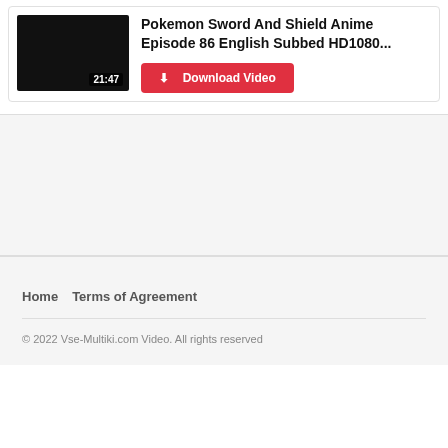[Figure (screenshot): Video thumbnail — black rectangle with timestamp 21:47 in bottom right corner]
Pokemon Sword And Shield Anime Episode 86 English Subbed HD1080...
Download Video
[Figure (other): Advertisement or blank mid-section area with light gray background]
Home   Terms of Agreement
© 2022 Vse-Multiki.com Video. All rights reserved